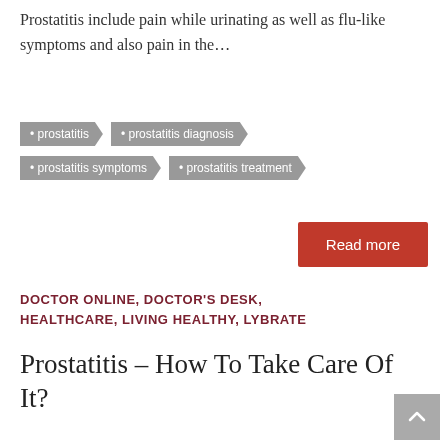Prostatitis include pain while urinating as well as flu-like symptoms and also pain in the…
• prostatitis
• prostatitis diagnosis
• prostatitis symptoms
• prostatitis treatment
Read more
DOCTOR ONLINE, DOCTOR'S DESK, HEALTHCARE, LIVING HEALTHY, LYBRATE
Prostatitis – How To Take Care Of It?
Doctors Desk   December 5, 2019
By Dr. Bivek Kumar, Urology The prostate gland is a gland located just below the bladder in men and is responsible for producing semen. When this gland becomes inflamed or swells, it is known as prostatitis. Symptoms of